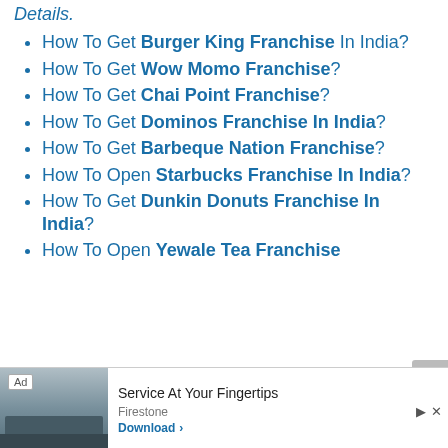Details.
How To Get Burger King Franchise In India?
How To Get Wow Momo Franchise?
How To Get Chai Point Franchise?
How To Get Dominos Franchise In India?
How To Get Barbeque Nation Franchise?
How To Open Starbucks Franchise In India?
How To Get Dunkin Donuts Franchise In India?
How To Open Yewale Tea Franchise
[Figure (other): Advertisement banner for Firestone - Service At Your Fingertips with Download button]